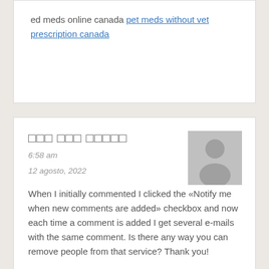ed meds online canada pet meds without vet prescription canada
□□□ □□□ □□□□□
6:58 am
12 agosto, 2022
When I initially commented I clicked the «Notify me when new comments are added» checkbox and now each time a comment is added I get several e-mails with the same comment. Is there any way you can remove people from that service? Thank you!